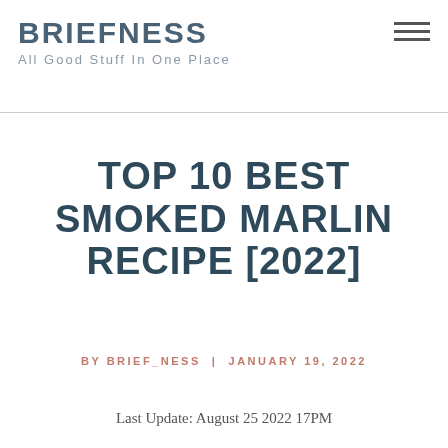BRIEFNESS — All Good Stuff In One Place
TOP 10 BEST SMOKED MARLIN RECIPE [2022]
BY BRIEF_NESS | JANUARY 19, 2022
Last Update: August 25 2022 17PM